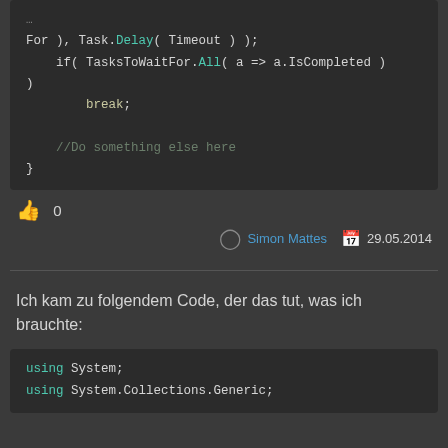[Figure (screenshot): Code snippet showing C# async code with TasksToWaitFor.All, Task.Delay, break, and comment]
0
Simon Mattes  29.05.2014
Ich kam zu folgendem Code, der das tut, was ich brauchte:
[Figure (screenshot): Code snippet showing using System; and using System.Collections.Generic;]